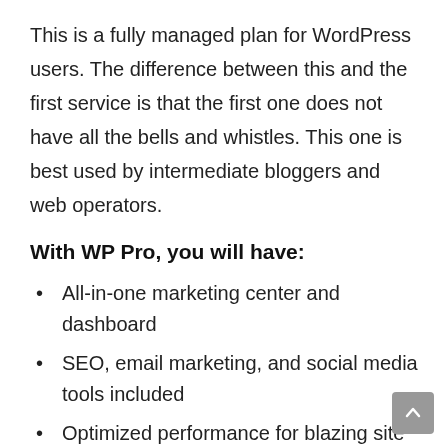This is a fully managed plan for WordPress users. The difference between this and the first service is that the first one does not have all the bells and whistles. This one is best used by intermediate bloggers and web operators.
With WP Pro, you will have:
All-in-one marketing center and dashboard
SEO, email marketing, and social media tools included
Optimized performance for blazing site speeds
With SEO tools, you will be provided…